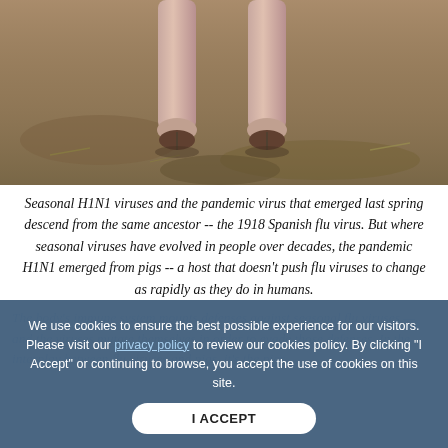[Figure (photo): Close-up photo of pig legs and hooves on muddy ground, shot from low angle showing legs from knee down]
Seasonal H1N1 viruses and the pandemic virus that emerged last spring descend from the same ancestor -- the 1918 Spanish flu virus. But where seasonal viruses have evolved in people over decades, the pandemic H1N1 emerged from pigs -- a host that doesn't push flu viruses to change as rapidly as they do in humans.
We use cookies to ensure the best possible experience for our visitors. Please visit our privacy policy to review our cookies policy. By clicking "I Accept" or continuing to browse, you accept the use of cookies on this site.
The body's immune system mounts defenses against seasonal flu viruses -- and the viruses mutate themselves in order to evade those defenses. In the interplay between flu viruses and pigs, it's the pigs